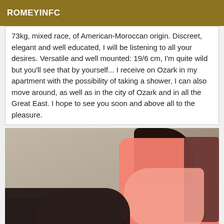ROMEYINFC
73kg, mixed race, of American-Moroccan origin. Discreet, elegant and well educated, I will be listening to all your desires. Versatile and well mounted: 19/6 cm, I'm quite wild but you'll see that by yourself... I receive on Ozark in my apartment with the possibility of taking a shower, I can also move around, as well as in the city of Ozark and in all the Great East. I hope to see you soon and above all to the pleasure.
[Figure (photo): Person wearing a pink ruffled top with dark lace trim, dark hair, against a neutral wall background.]